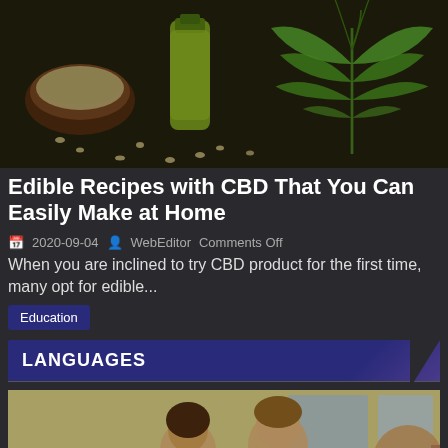[Figure (photo): Cannabis hemp seeds, green CBD oil bottle, and a cannabis leaf on a dark wooden surface]
Edible Recipes with CBD That You Can Easily Make at Home
2020-09-04  WebEditor  Comments Off
When you are inclined to try CBD product for the first time, many opt for edible...
Education
LANGUAGES
[Figure (photo): Children in a classroom setting, students raising hands and talking, wearing white school uniforms]